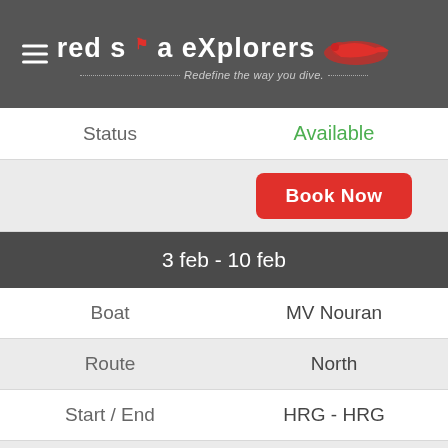red sea eXplorers – Redefine the way you dive
| Label | Value |
| --- | --- |
| Status | Available |
| Book Now |  |
| 3 feb - 10 feb |  |
| Boat | MV Nouran |
| Route | North |
| Start / End | HRG - HRG |
| Available | 24 |
| Price |  |
| Status | Available |
| Book Now |  |